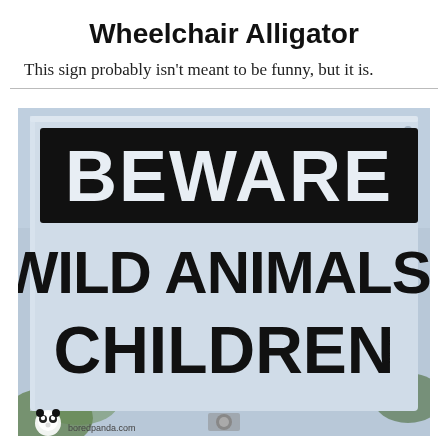Wheelchair Alligator
This sign probably isn't meant to be funny, but it is.
[Figure (photo): A close-up photo of a metal warning sign with a black rectangle at the top containing white bold text 'BEWARE', and below in large black bold text on a light blue/grey metallic background: 'WILD ANIMALS/ CHILDREN'. Tree foliage is visible in the background. A panda logo watermark and 'boredpanda.com' text appears at the bottom left.]